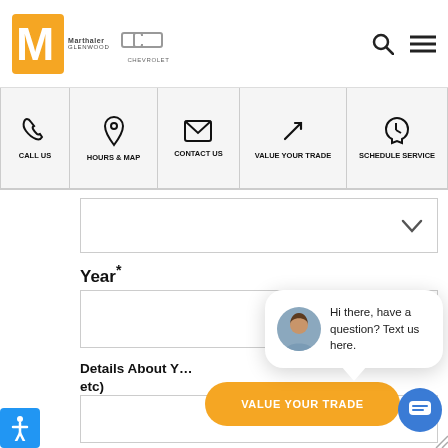[Figure (logo): Marthaler Glenwood dealership logo with orange M and Chevrolet bowtie logo]
[Figure (screenshot): Navigation bar with icons: Call Us, Hours & Map, Contact Us, Value Your Trade, Schedule Service]
Year*
close
Details About Your Vehicle (year make model, mileage, etc)
Hi there, have a question? Text us here.
VALUE YOUR TRADE